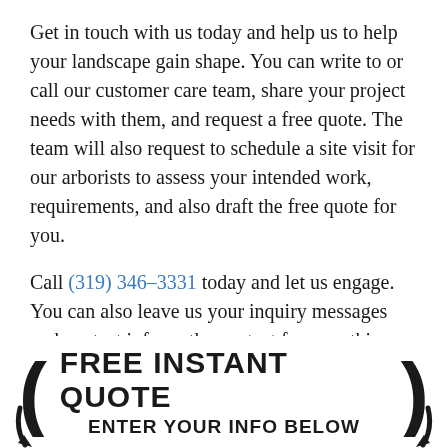Get in touch with us today and help us to help your landscape gain shape. You can write to or call our customer care team, share your project needs with them, and request a free quote. The team will also request to schedule a site visit for our arborists to assess your intended work, requirements, and also draft the free quote for you.
Call (319) 346-3331 today and let us engage. You can also leave us your inquiry messages and contact info on the contact form on this page for further communication.
[Figure (infographic): Banner with decorative curved brackets/arrows on left and right, bold text reading FREE INSTANT QUOTE with subtext ENTER YOUR INFO BELOW]